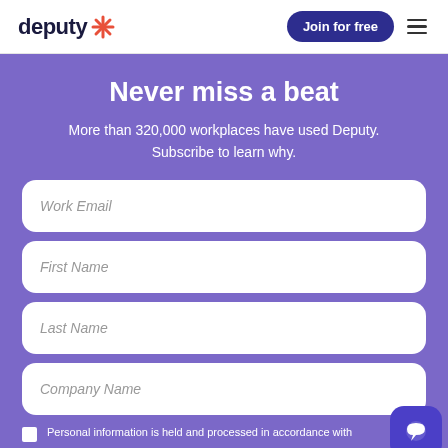[Figure (logo): Deputy logo with stylized snowflake/asterisk icon in coral/red and dark navy wordmark]
Join for free
Never miss a beat
More than 320,000 workplaces have used Deputy. Subscribe to learn why.
Work Email
First Name
Last Name
Company Name
Personal information is held and processed in accordance with